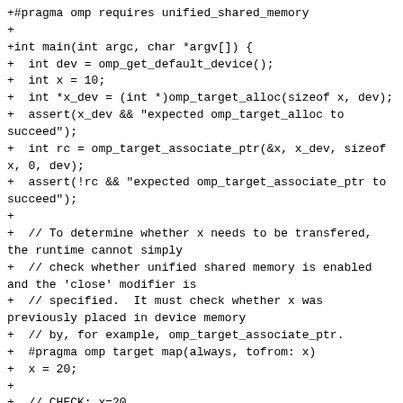+#pragma omp requires unified_shared_memory
+
+int main(int argc, char *argv[]) {
+  int dev = omp_get_default_device();
+  int x = 10;
+  int *x_dev = (int *)omp_target_alloc(sizeof x, dev);
+  assert(x_dev && "expected omp_target_alloc to succeed");
+  int rc = omp_target_associate_ptr(&x, x_dev, sizeof x, 0, dev);
+  assert(!rc && "expected omp_target_associate_ptr to succeed");
+
+  // To determine whether x needs to be transfered, the runtime cannot simply
+  // check whether unified shared memory is enabled and the 'close' modifier is
+  // specified.  It must check whether x was previously placed in device memory
+  // by, for example, omp_target_associate_ptr.
+  #pragma omp target map(always, tofrom: x)
+  x = 20;
+
+  // CHECK: x=20
+  printf("x=%d\n", x);
+  // CHECK: present: 1
+  printf("present: %d\n", omp_target_is_present(&x, dev));
+
+  return 0;